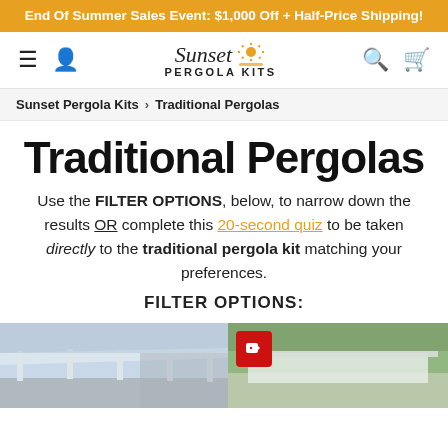End Of Summer Sales Event: $1,000 Off + Half-Price Shipping!
[Figure (logo): Sunset Pergola Kits logo with sun icon and navigation bar icons (hamburger menu, user, search, cart)]
Sunset Pergola Kits > Traditional Pergolas
Traditional Pergolas
Use the FILTER OPTIONS, below, to narrow down the results OR complete this 20-second quiz to be taken directly to the traditional pergola kit matching your preferences.
FILTER OPTIONS:
[Figure (photo): Two product images side by side: left shows a white pergola structure against a building with a blue sky, right shows a white pergola with greenery in the background; red price tag badge visible on right image]